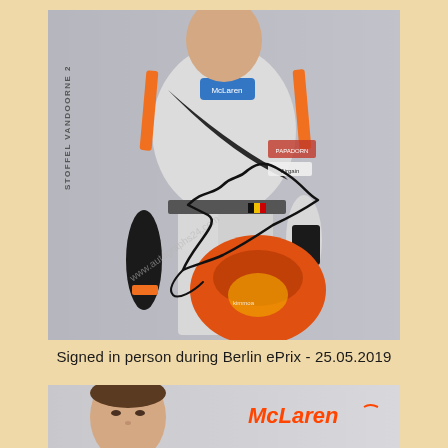[Figure (photo): Autographed photo card of Stoffel Vandoorne wearing McLaren racing suit, holding an orange racing helmet. The card has a signature across it and a watermark reading 'www.autographs24.com'. Text on left side reads 'STOFFEL VANDOORNE 2'. The racing suit is white/silver with McLaren branding, orange accents, and sponsor logos including Airgain.]
Signed in person during Berlin ePrix - 25.05.2019
[Figure (photo): Partial photo showing a young male racing driver's face and the McLaren logo/wordmark on a grey background.]